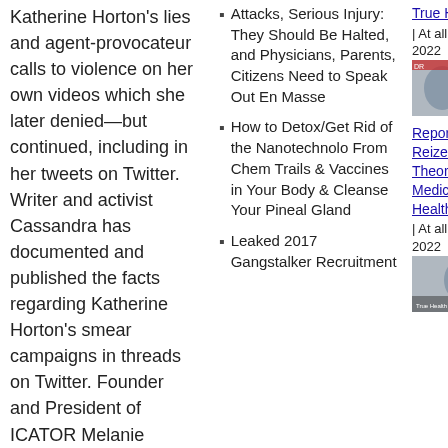Katherine Horton's lies and agent-provocateur calls to violence on her own videos which she later denied—but continued, including in her tweets on Twitter. Writer and activist Cassandra has documented and published the facts regarding Katherine Horton's smear campaigns in threads on Twitter. Founder and President of ICATOR Melanie Vritschan has documented and rebutted in video the numerous lies, smears, and false-allegations directed at her by Katherine Horton, whose hand in the wrongful medical kidnap
Attacks, Serious Injury: They Should Be Halted, and Physicians, Parents, Citizens Need to Speak Out En Masse
How to Detox/Get Rid of the Nanotechnology From Chem Trails & Vaccines in Your Body & Cleanse Your Pineal Gland
Leaked 2017 Gangstalker Recruitment
True Health & Healing | At all channels | May 8, 2022
[Figure (photo): Thumbnail image of a video, two people visible]
Report 283: Dr. John Reizer on Pandemic-Theory, Planned Disease, Medical Fallacies, True Health | At all channels | May 2, 2022
[Figure (photo): Thumbnail image of a video, person visible]